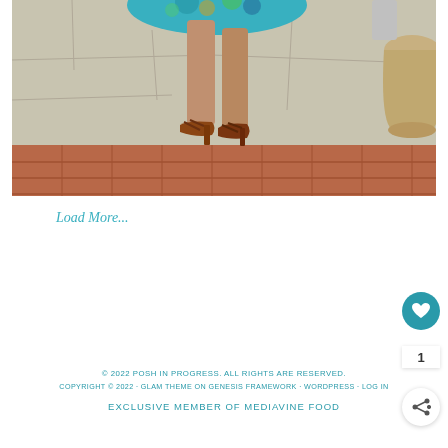[Figure (photo): Photo of a person's legs wearing a teal/green floral dress and brown strappy heeled sandals, standing on a stone and brick tile surface outdoors. A large pot is visible on the right side.]
Load More...
© 2022 POSH IN PROGRESS. ALL RIGHTS ARE RESERVED. COPYRIGHT © 2022 · GLAM THEME ON GENESIS FRAMEWORK · WORDPRESS · LOG IN EXCLUSIVE MEMBER OF MEDIAVINE FOOD